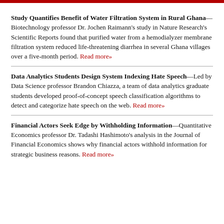Study Quantifies Benefit of Water Filtration System in Rural Ghana—Biotechnology professor Dr. Jochen Raimann's study in Nature Research's Scientific Reports found that purified water from a hemodialyzer membrane filtration system reduced life-threatening diarrhea in several Ghana villages over a five-month period. Read more»
Data Analytics Students Design System Indexing Hate Speech—Led by Data Science professor Brandon Chiazza, a team of data analytics graduate students developed proof-of-concept speech classification algorithms to detect and categorize hate speech on the web. Read more»
Financial Actors Seek Edge by Withholding Information—Quantitative Economics professor Dr. Tadashi Hashimoto's analysis in the Journal of Financial Economics shows why financial actors withhold information for strategic business reasons. Read more»